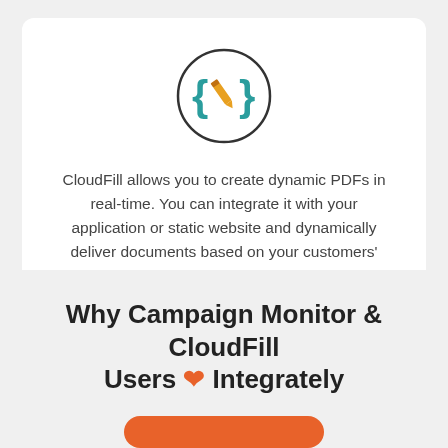[Figure (illustration): Circle icon containing curly braces in teal with an orange pencil/edit icon overlaid in the center]
CloudFill allows you to create dynamic PDFs in real-time. You can integrate it with your application or static website and dynamically deliver documents based on your customers' behavior or preferences.
See CloudFill Integrations >
Why Campaign Monitor & CloudFill Users ❤ Integrately